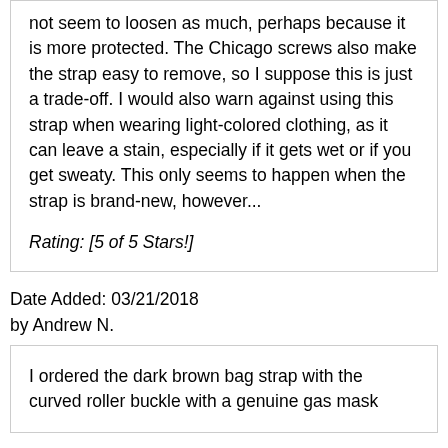not seem to loosen as much, perhaps because it is more protected. The Chicago screws also make the strap easy to remove, so I suppose this is just a trade-off. I would also warn against using this strap when wearing light-colored clothing, as it can leave a stain, especially if it gets wet or if you get sweaty. This only seems to happen when the strap is brand-new, however...
Rating: [5 of 5 Stars!]
Date Added: 03/21/2018
by Andrew N.
I ordered the dark brown bag strap with the curved roller buckle with a genuine gas mask